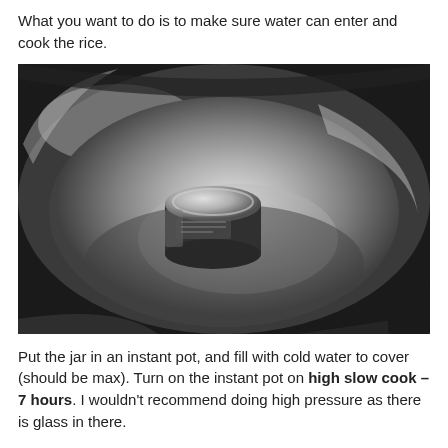What you want to do is to make sure water can enter and cook the rice.
[Figure (photo): Photo looking down into a stainless steel instant pot insert, showing a small glass mason jar placed in the center of the pot interior.]
Put the jar in an instant pot, and fill with cold water to cover (should be max). Turn on the instant pot on high slow cook – 7 hours. I wouldn't recommend doing high pressure as there is glass in there.